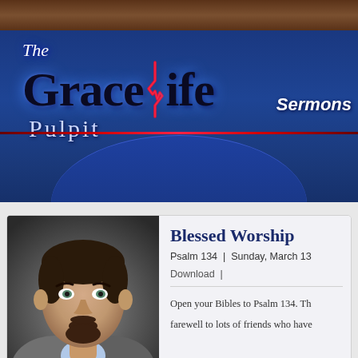[Figure (screenshot): The GraceLife Pulpit website header with blue gradient banner, logo with heartbeat line through the letter L, and 'Sermons' navigation text on the right]
[Figure (photo): Headshot of a middle-aged man with dark hair, goatee, wearing a grey blazer and light blue shirt]
Blessed Worship
Psalm 134  |  Sunday, March 13
Download  |
Open your Bibles to Psalm 134. Th...
farewell to lots of friends who have...